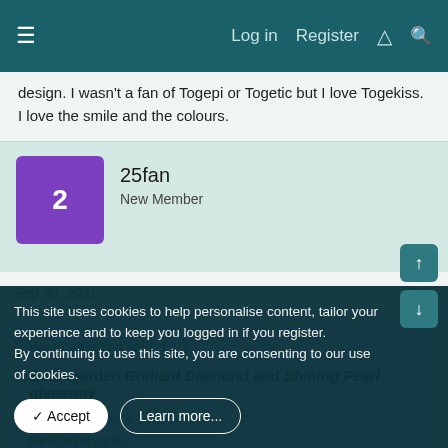Log in  Register
design. I wasn't a fan of Togepi or Togetic but I love Togekiss. I love the smile and the colours.
25fan
New Member
Sep 30, 2021  #246
WyndonCalling said:
Bulbagarden Brilliant Diamond and Shining Pearl giveaway
View attachment 149664
Hello everyone,
This site uses cookies to help personalise content, tailor your experience and to keep you logged in if you register.
By continuing to use this site, you are consenting to our use of cookies.
✓ Accept   Learn more...